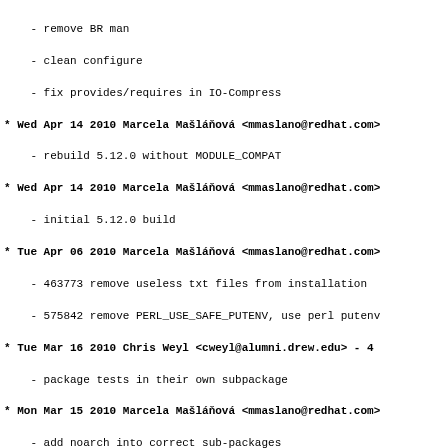- remove BR man
- clean configure
- fix provides/requires in IO-Compress
* Wed Apr 14 2010 Marcela Mašláňová <mmaslano@redhat.com>
    - rebuild 5.12.0 without MODULE_COMPAT
* Wed Apr 14 2010 Marcela Mašláňová <mmaslano@redhat.com>
    - initial 5.12.0 build
* Tue Apr 06 2010 Marcela Mašláňová <mmaslano@redhat.com>
    - 463773 remove useless txt files from installation
    - 575842 remove PERL_USE_SAFE_PUTENV, use perl putenv
* Tue Mar 16 2010 Chris Weyl <cweyl@alumni.drew.edu> - 4
    - package tests in their own subpackage
* Mon Mar 15 2010 Marcela Mašláňová <mmaslano@redhat.com>
    - add noarch into correct sub-packages
    - move Provides/Obsoletes into correct modules from ma
* Thu Mar 11 2010 Paul Howarth <paul@city-fan.org> - 4:5
    - restore missing version macros for Compress::Raw::Zl
      and IO::Compress::Zlib
* Thu Mar 11 2010 Marcela Mašláňová <mmaslano@redhat.com>
    - clean spec a little more
    - rebuild with new gdbm
* Fri Mar 05 2010 Marcela Mašláňová <mmaslano@redhat.com>
    - fix license according to advice from legal
    - clean unused patches
* Wed Feb 24 2010 Chris Weyl <cweyl@alumni.drew.edu> - 4
    - update subpackage tests macros to handle packages wi
* Fri Feb 05 2010 Chris Weyl <cweyl@alumni.drew.edu> - 4
    - add initial EXPERIMENTAL tests subpackage rpm macros
* Tue Dec 22 2009 Marcela Mašláňová <mmaslano@redhat.com>
    - 547656 CVE-2009-3626 perl: regexp matcher crash on i